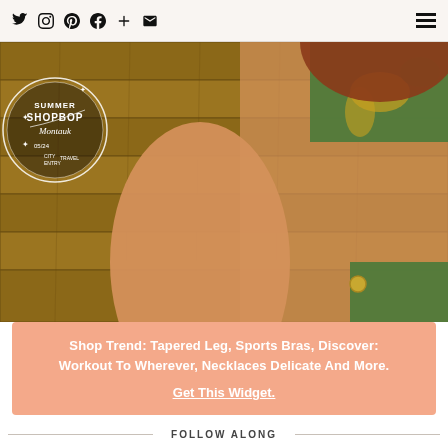Social icons: Twitter, Instagram, Pinterest, Facebook, Plus, Email | Hamburger menu
[Figure (photo): Fashion model sitting on wooden floor wearing a green tropical print bikini with gold hardware, with a circular Shopbop Summer Montauk event badge overlaid in top left corner]
Shop Trend: Tapered Leg, Sports Bras, Discover: Workout To Wherever, Necklaces Delicate And More. Get This Widget.
FOLLOW ALONG